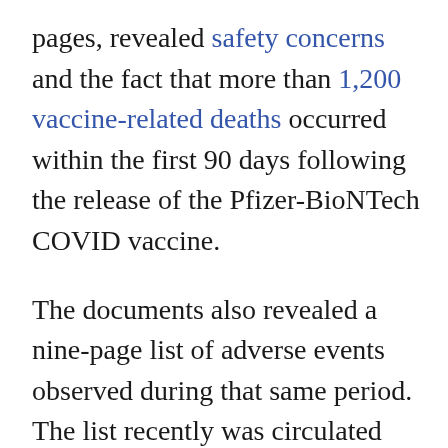pages, revealed safety concerns and the fact that more than 1,200 vaccine-related deaths occurred within the first 90 days following the release of the Pfizer-BioNTech COVID vaccine.
The documents also revealed a nine-page list of adverse events observed during that same period. The list recently was circulated widely on social media and wrongly attributed to the set of documents released